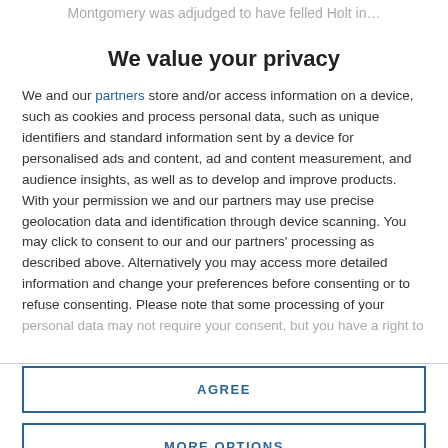Montgomery was adjudged to have felled Holt in…
We value your privacy
We and our partners store and/or access information on a device, such as cookies and process personal data, such as unique identifiers and standard information sent by a device for personalised ads and content, ad and content measurement, and audience insights, as well as to develop and improve products. With your permission we and our partners may use precise geolocation data and identification through device scanning. You may click to consent to our and our partners' processing as described above. Alternatively you may access more detailed information and change your preferences before consenting or to refuse consenting. Please note that some processing of your personal data may not require your consent, but you have a right to
AGREE
MORE OPTIONS